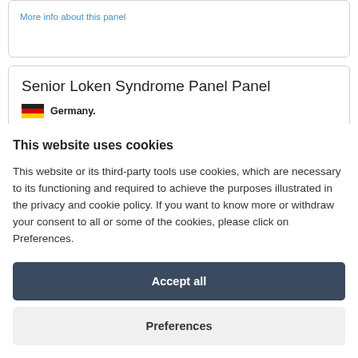More info about this panel
Senior Loken Syndrome Panel Panel
Germany.
By CeGaT GmbH Senior Loken Syndrome Panel that also includes the
This website uses cookies
This website or its third-party tools use cookies, which are necessary to its functioning and required to achieve the purposes illustrated in the privacy and cookie policy. If you want to know more or withdraw your consent to all or some of the cookies, please click on Preferences.
Accept all
Preferences